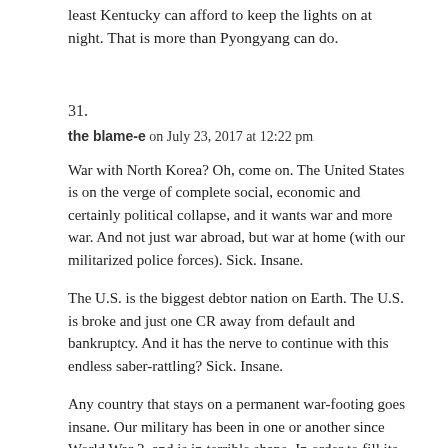least Kentucky can afford to keep the lights on at night. That is more than Pyongyang can do.
31.
the blame-e on July 23, 2017 at 12:22 pm
War with North Korea? Oh, come on. The United States is on the verge of complete social, economic and certainly political collapse, and it wants war and more war. And not just war abroad, but war at home (with our militarized police forces). Sick. Insane.
The U.S. is the biggest debtor nation on Earth. The U.S. is broke and just one CR away from default and bankruptcy. And it has the nerve to continue with this endless saber-rattling? Sick. Insane.
Any country that stays on a permanent war-footing goes insane. Our military has been in one or another since World War 2, and is in terrible shape. In order to fill its